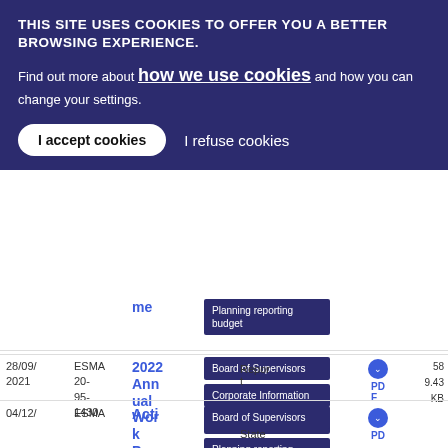THIS SITE USES COOKIES TO OFFER YOU A BETTER BROWSING EXPERIENCE.
Find out more about how we use cookies and how you can change your settings.
I accept cookies | I refuse cookies
| Date | Reference | Title | Tags | Type | Size |
| --- | --- | --- | --- | --- | --- |
| 28/09/2021 | ESMA 20-95-1430 | 2022 Annual Work Programme | Board of Supervisors, Corporate Information, Management Board, Planning reporting budget | PDF | 589.43 KB |
| 04/12/ | ESMA | Acti | Board of Supervisors | PD |  |